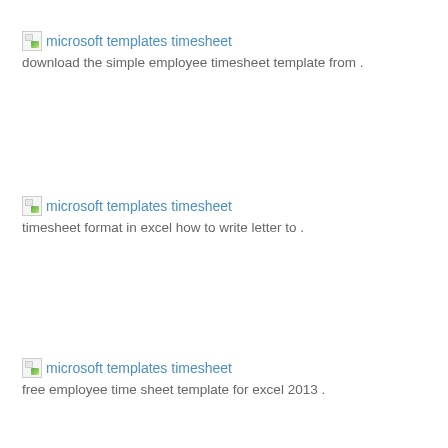[Figure (other): Broken image icon for microsoft templates timesheet]
microsoft templates timesheet
download the simple employee timesheet template from .
[Figure (other): Broken image icon for microsoft templates timesheet]
microsoft templates timesheet
timesheet format in excel how to write letter to .
[Figure (other): Broken image icon for microsoft templates timesheet]
microsoft templates timesheet
free employee time sheet template for excel 2013 .